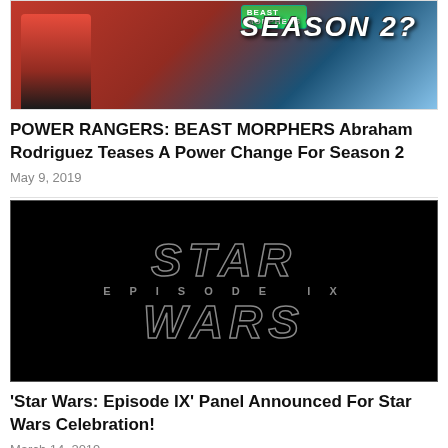[Figure (photo): Power Rangers Beast Morphers thumbnail image with character in red suit pointing and 'SEASON 2?' text overlay]
POWER RANGERS: BEAST MORPHERS Abraham Rodriguez Teases A Power Change For Season 2
May 9, 2019
[Figure (photo): Star Wars Episode IX logo on black background showing 'STAR WARS' text with 'EPISODE IX' lettering in between]
'Star Wars: Episode IX' Panel Announced For Star Wars Celebration!
March 14, 2019